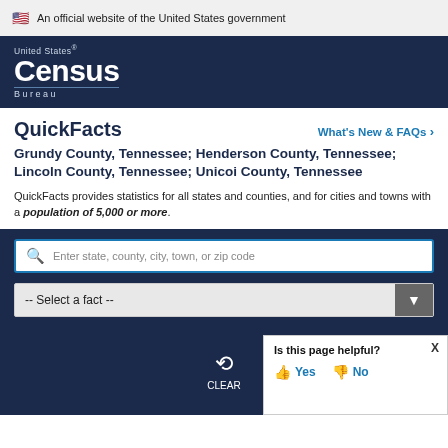An official website of the United States government
[Figure (logo): United States Census Bureau logo — white text on dark navy background]
QuickFacts
What's New & FAQs >
Grundy County, Tennessee; Henderson County, Tennessee; Lincoln County, Tennessee; Unicoi County, Tennessee
QuickFacts provides statistics for all states and counties, and for cities and towns with a population of 5,000 or more.
Enter state, county, city, town, or zip code
-- Select a fact --
CLEAR
Is this page helpful? Yes No